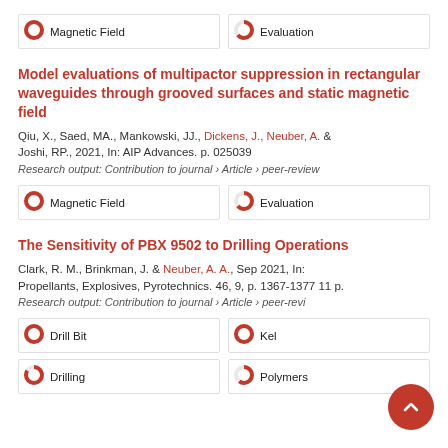[Figure (infographic): Two keyword tags: 100% Magnetic Field (full red donut) and 65% Evaluation (half red donut)]
Model evaluations of multipactor suppression in rectangular waveguides through grooved surfaces and static magnetic field
Qiu, X., Saed, MA., Mankowski, JJ., Dickens, J., Neuber, A. & Joshi, RP., 2021, In: AIP Advances. p. 025039
Research output: Contribution to journal › Article › peer-review
[Figure (infographic): Two keyword tags: 100% Magnetic Field (full red donut) and 65% Evaluation (half red donut)]
The Sensitivity of PBX 9502 to Drilling Operations
Clark, R. M., Brinkman, J. & Neuber, A. A., Sep 2021, In: Propellants, Explosives, Pyrotechnics. 46, 9, p. 1367-1377 11 p.
Research output: Contribution to journal › Article › peer-review
[Figure (infographic): Four keyword tags: 100% Drill Bit, 100% Kel, 100% Drilling, 65% Polymers]